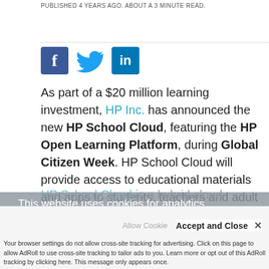PUBLISHED 4 YEARS AGO. ABOUT A 3 MINUTE READ.
[Figure (logo): Social share icons: Facebook, Twitter, LinkedIn]
As part of a $20 million learning investment, HP Inc. has announced the new HP School Cloud, featuring the HP Open Learning Platform, during Global Citizen Week. HP School Cloud will provide access to educational materials and apps to students, teachers and adult learners in rural and poor communities around the world.
HP School Cloud is a hybrid cloud appliance...
This website uses cookies for analytics, advertising and to improve our site. We'll assume you're ok with this, but you will...
Accept and Close ✕
Your browser settings do not allow cross-site tracking for advertising. Click on this page to allow AdRoll to use cross-site tracking to tailor ads to you. Learn more or opt out of this AdRoll tracking by clicking here. This message only appears once.